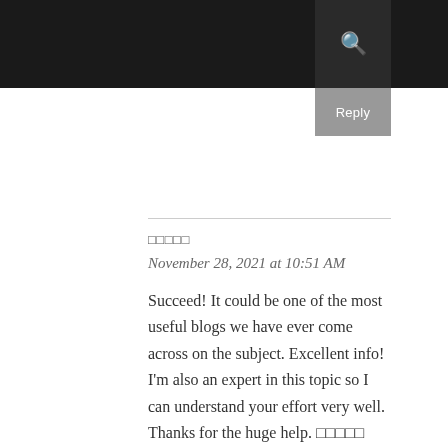Reply
□□□□□
November 28, 2021 at 10:51 AM
Succeed! It could be one of the most useful blogs we have ever come across on the subject. Excellent info! I'm also an expert in this topic so I can understand your effort very well. Thanks for the huge help. □□□□□